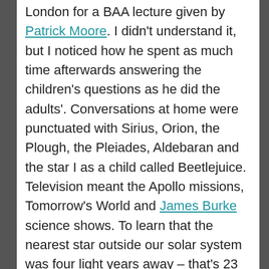London for a BAA lecture given by Patrick Moore. I didn't understand it, but I noticed how he spent as much time afterwards answering the children's questions as he did the adults'. Conversations at home were punctuated with Sirius, Orion, the Plough, the Pleiades, Aldebaran and the star I as a child called Beetlejuice. Television meant the Apollo missions, Tomorrow's World and James Burke science shows. To learn that the nearest star outside our solar system was four light years away – that's 23 trillion miles – was mind-blowing and awe-inspiring. Later, when I came to faith in my mid-teens, although I had not kept up the interest in astronomy, to gaze up at a clear night
Advertisements